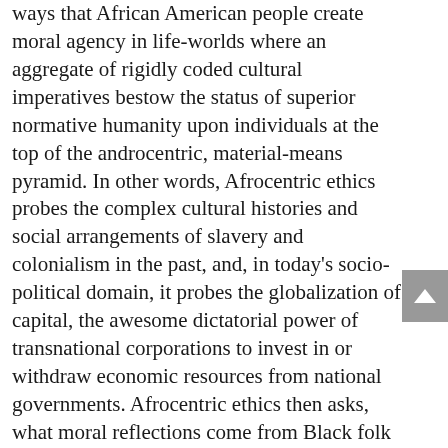ways that African American people create moral agency in life-worlds where an aggregate of rigidly coded cultural imperatives bestow the status of superior normative humanity upon individuals at the top of the androcentric, material-means pyramid. In other words, Afrocentric ethics probes the complex cultural histories and social arrangements of slavery and colonialism in the past, and, in today's socio-political domain, it probes the globalization of capital, the awesome dictatorial power of transnational corporations to invest in or withdraw economic resources from national governments. Afrocentric ethics then asks, what moral reflections come from Black folk who respectfully yearn to actualize the deepest possibilities of human existence? More than anything else, my specific work in Afrocentric ethics examines the themes and questions that emerge when people of faith draw our line of spiritual genealogy through the